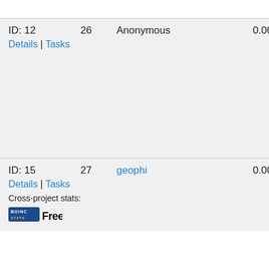| ID | Number | Name | Value | Points | Extra |
| --- | --- | --- | --- | --- | --- |
| ID: 12 | 26 | Anonymous | 0.00 | 24,750 | 7 |
| ID: 15 | 27 | geophi | 0.00 | 88,010 | 7 |
Cross-project stats:
[Figure (logo): BOINC Stats and Free-DC logos]